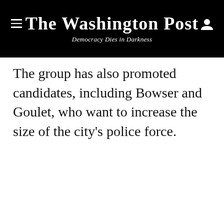The Washington Post — Democracy Dies in Darkness
The group has also promoted candidates, including Bowser and Goulet, who want to increase the size of the city's police force.